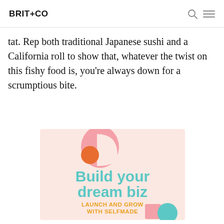BRIT+CO
tat. Rep both traditional Japanese sushi and a California roll to show that, whatever the twist on this fishy food is, you’re always down for a scrumptious bite.
[Figure (illustration): Advertisement for Brit+Co Selfmade program. Pink/salmon background with decorative shapes (pink half-circle, orange circle, white D-shape). Large teal text reads 'Build your dream biz'. Orange bold text reads 'LAUNCH AND GROW WITH SELFMADE'. Decorative pink and teal shapes at the bottom.]